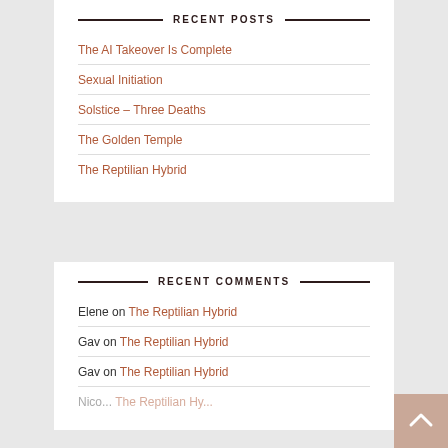RECENT POSTS
The AI Takeover Is Complete
Sexual Initiation
Solstice – Three Deaths
The Golden Temple
The Reptilian Hybrid
RECENT COMMENTS
Elene on The Reptilian Hybrid
Gav on The Reptilian Hybrid
Gav on The Reptilian Hybrid